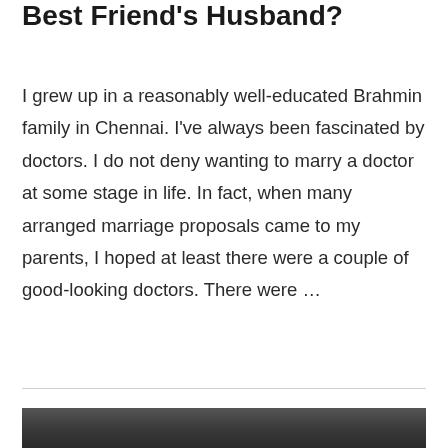Best Friend's Husband?
I grew up in a reasonably well-educated Brahmin family in Chennai. I've always been fascinated by doctors. I do not deny wanting to marry a doctor at some stage in life. In fact, when many arranged marriage proposals came to my parents, I hoped at least there were a couple of good-looking doctors. There were …
Read More »
[Figure (photo): Partial photograph visible at bottom of page, dark background image]